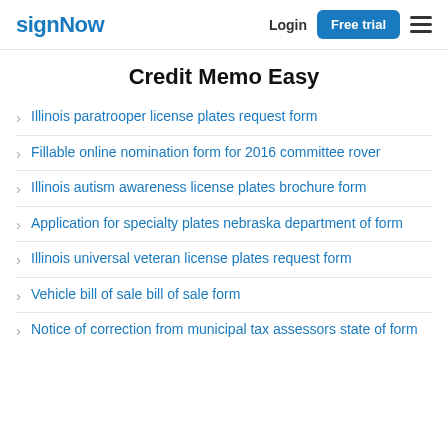signNow  Login  Free trial
Credit Memo Easy
Illinois paratrooper license plates request form
Fillable online nomination form for 2016 committee rover
Illinois autism awareness license plates brochure form
Application for specialty plates nebraska department of form
Illinois universal veteran license plates request form
Vehicle bill of sale bill of sale form
Notice of correction from municipal tax assessors state of form